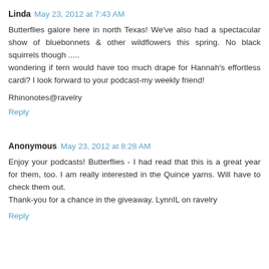Linda May 23, 2012 at 7:43 AM
Butterflies galore here in north Texas! We've also had a spectacular show of bluebonnets & other wildflowers this spring. No black squirrels though .....
wondering if tern would have too much drape for Hannah's effortless cardi? I look forward to your podcast-my weekly friend!

Rhinonotes@ravelry
Reply
Anonymous May 23, 2012 at 8:28 AM
Enjoy your podcasts! Butterflies - I had read that this is a great year for them, too. I am really interested in the Quince yarns. Will have to check them out.
Thank-you for a chance in the giveaway. LynnIL on ravelry
Reply